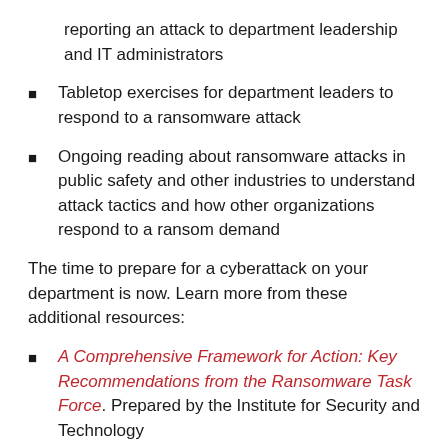reporting an attack to department leadership and IT administrators
Tabletop exercises for department leaders to respond to a ransomware attack
Ongoing reading about ransomware attacks in public safety and other industries to understand attack tactics and how other organizations respond to a ransom demand
The time to prepare for a cyberattack on your department is now. Learn more from these additional resources:
A Comprehensive Framework for Action: Key Recommendations from the Ransomware Task Force. Prepared by the Institute for Security and Technology